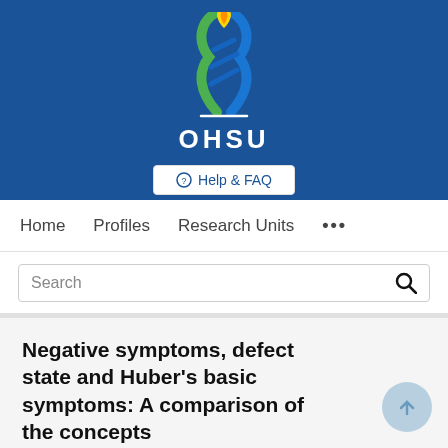[Figure (logo): OHSU (Oregon Health & Science University) logo — flame/DNA helix icon in blue, green, yellow above white underline and OHSU text — on blue background]
Help & FAQ
Home   Profiles   Research Units   ...
Search
Negative symptoms, defect state and Huber's basic symptoms: A comparison of the concepts